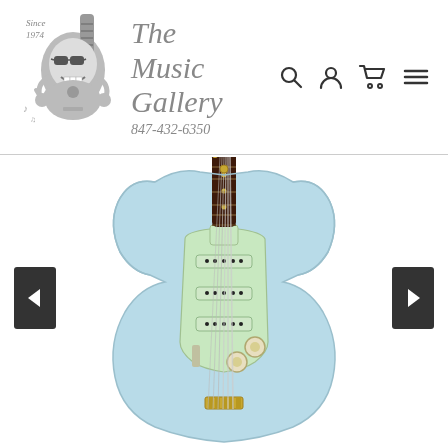[Figure (logo): The Music Gallery logo: skull character playing guitar, 'Since 1974' text, brand name 'The Music Gallery', phone number 847-432-6350]
[Figure (photo): A Fender Stratocaster electric guitar in sonic blue with mint green pickguard, rosewood fretboard, gold hardware, three single-coil pickups, viewed from the front. Navigation arrows on left and right sides.]